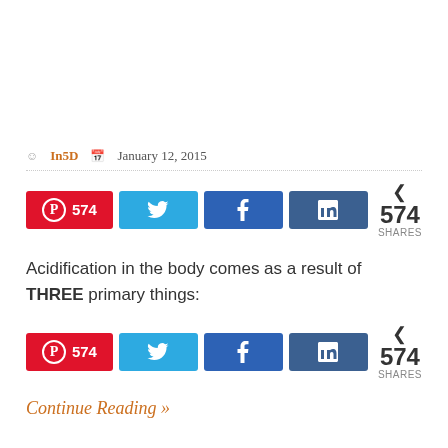In5D  January 12, 2015
[Figure (other): Social share buttons row 1: Pinterest 574, Twitter, Facebook, LinkedIn, 574 SHARES]
Acidification in the body comes as a result of THREE primary things:
[Figure (other): Social share buttons row 2: Pinterest 574, Twitter, Facebook, LinkedIn, 574 SHARES]
Continue Reading »